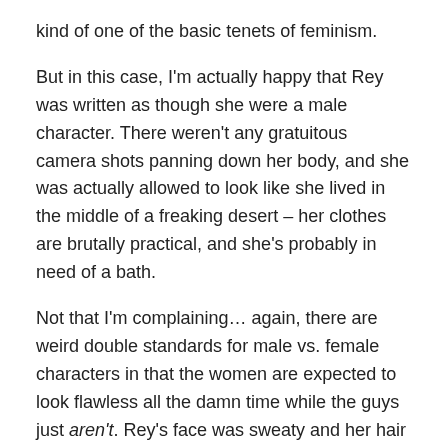kind of one of the basic tenets of feminism.
But in this case, I'm actually happy that Rey was written as though she were a male character. There weren't any gratuitous camera shots panning down her body, and she was actually allowed to look like she lived in the middle of a freaking desert – her clothes are brutally practical, and she's probably in need of a bath.
Not that I'm complaining… again, there are weird double standards for male vs. female characters in that the women are expected to look flawless all the damn time while the guys just aren't. Rey's face was sweaty and her hair was frizzy and falling out of its buns and that was good because it looked like she actually belonged on that desert world and not on a runway as a model.
We can se the assessment that Rey...